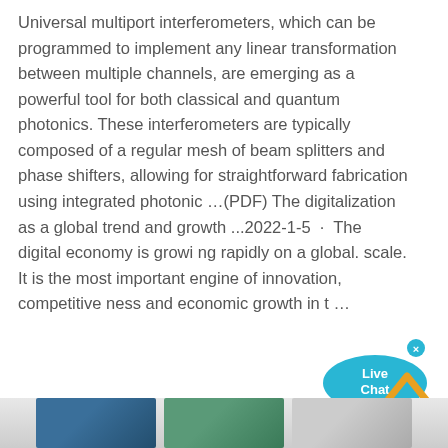Universal multiport interferometers, which can be programmed to implement any linear transformation between multiple channels, are emerging as a powerful tool for both classical and quantum photonics. These interferometers are typically composed of a regular mesh of beam splitters and phase shifters, allowing for straightforward fabrication using integrated photonic …(PDF) The digitalization as a global trend and growth ...2022-1-5 · The digital economy is growi ng rapidly on a global. scale. It is the most important engine of innovation, competitive ness and economic growth in t …
[Figure (other): Live Chat bubble widget — a cyan speech bubble with 'Live Chat' text and an X close button]
[Figure (other): Orange up-arrow chevron button in bottom-right area for scrolling back to top]
[Figure (photo): Bottom strip showing partial photographs — industrial/scientific equipment on left, people in green medical/lab attire in center, document/paper on right]